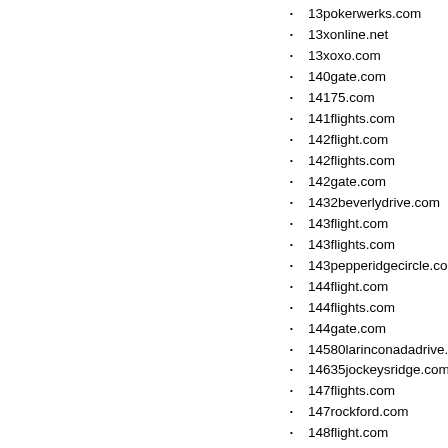13pokerwerks.com
13xonline.net
13xoxo.com
140gate.com
14175.com
141flights.com
142flight.com
142flights.com
142gate.com
1432beverlydrive.com
143flight.com
143flights.com
143pepperidgecircle.com
144flight.com
144flights.com
144gate.com
14580larinconadadrive.com
14635jockeysridge.com
147flights.com
147rockford.com
148flight.com
148flights.com
148gate.com
149flight.com
149gate.com
14gate.com
14job.com
14thcenturyoutdoors.com